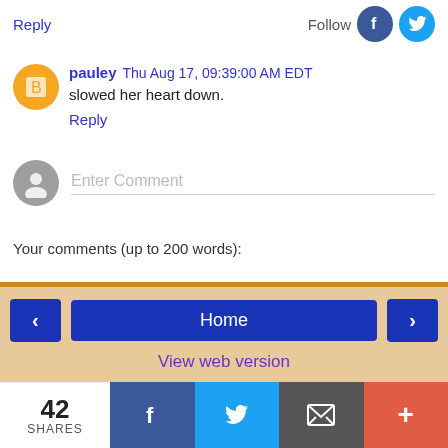Reply
Follow
pauley Thu Aug 17, 09:39:00 AM EDT
slowed her heart down.
Reply
Enter Comment
Your comments (up to 200 words):
Home
View web version
42 SHARES